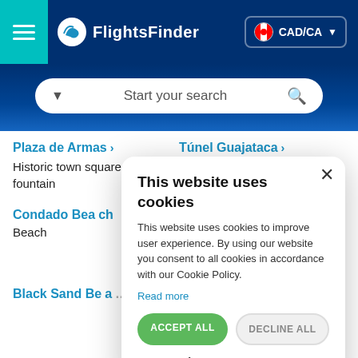[Figure (screenshot): FlightsFinder website header with teal hamburger menu, logo, and CAD/CA currency selector button on dark navy background]
[Figure (screenshot): Search bar with dropdown arrow, 'Start your search' placeholder text, and magnifying glass icon on blue gradient background]
Plaza de Armas >
Túnel Guajataca >
Historic town square with a fountain
Former railroad tunnel &
Condado Beach
Beach
Black Sand Beach
[Figure (screenshot): Cookie consent modal dialog with title 'This website uses cookies', body text, Read more link, Accept All and Decline All buttons, and Show Details option]